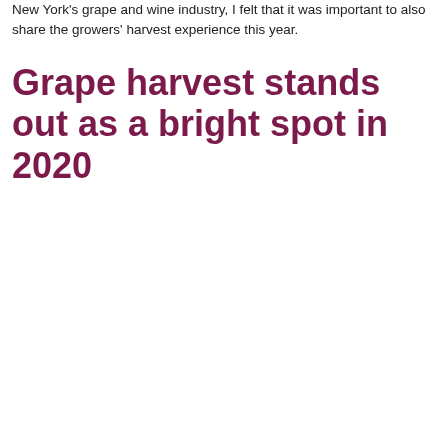New York's grape and wine industry, I felt that it was important to also share the growers' harvest experience this year.
Grape harvest stands out as a bright spot in 2020